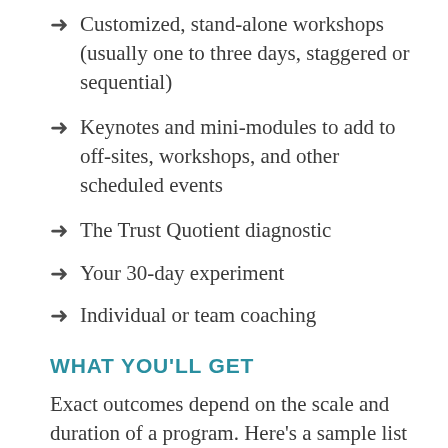Customized, stand-alone workshops (usually one to three days, staggered or sequential)
Keynotes and mini-modules to add to off-sites, workshops, and other scheduled events
The Trust Quotient diagnostic
Your 30-day experiment
Individual or team coaching
WHAT YOU'LL GET
Exact outcomes depend on the scale and duration of a program. Here's a sample list of program objectives: